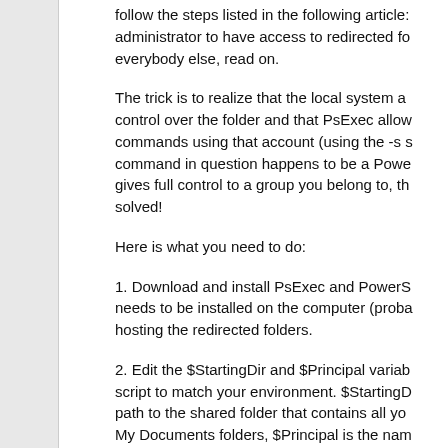follow the steps listed in the following article: administrator to have access to redirected fo... everybody else, read on.
The trick is to realize that the local system a... control over the folder and that PsExec allow... commands using that account (using the -s s... command in question happens to be a Powe... gives full control to a group you belong to, th... solved!
Here is what you need to do:
1. Download and install PsExec and PowerS... needs to be installed on the computer (proba... hosting the redirected folders.
2. Edit the $StartingDir and $Principal variab... script to match your environment. $StartingD... path to the shared folder that contains all yo... My Documents folders, $Principal is the nam... or local group that should be granted the pe... be a local account because the script will be... system account, which doesn't know about d... We'll add domain users and/or groups late...